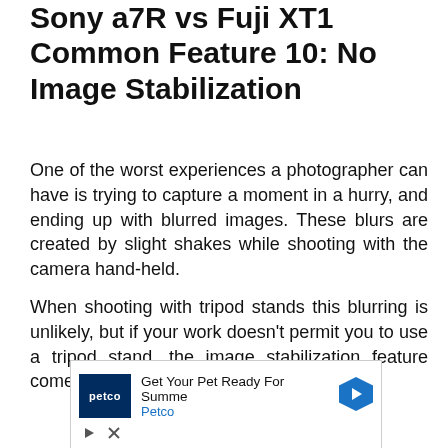Sony a7R vs Fuji XT1 Common Feature 10: No Image Stabilization
One of the worst experiences a photographer can have is trying to capture a moment in a hurry, and ending up with blurred images. These blurs are created by slight shakes while shooting with the camera hand-held.
When shooting with tripod stands this blurring is unlikely, but if your work doesn't permit you to use a tripod stand, the image stabilization feature comes to the rescue.
[Figure (other): Petco advertisement banner: Get Your Pet Ready For Summe / Petco, with Petco logo and blue hexagonal arrow icon, and play/close controls below.]